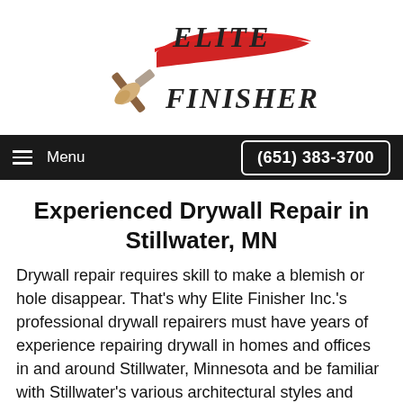[Figure (logo): Elite Finisher Inc. logo with paintbrush and red brushstroke, text reading 'Elite Finisher']
Menu   (651) 383-3700
Experienced Drywall Repair in Stillwater, MN
Drywall repair requires skill to make a blemish or hole disappear. That's why Elite Finisher Inc.'s professional drywall repairers must have years of experience repairing drywall in homes and offices in and around Stillwater, Minnesota and be familiar with Stillwater's various architectural styles and drywall materials used in construction over the years.